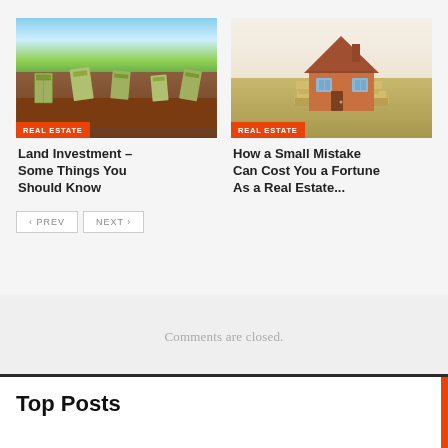[Figure (photo): Photo of money bills growing from soil in a green field with sunlight, with a red 'REAL ESTATE' badge]
[Figure (photo): Photo of a miniature house model sitting on stacks of dollar bills, with a red 'REAL ESTATE' badge]
Land Investment – Some Things You Should Know
How a Small Mistake Can Cost You a Fortune As a Real Estate...
< PREV   NEXT >
Comments are closed.
Top Posts